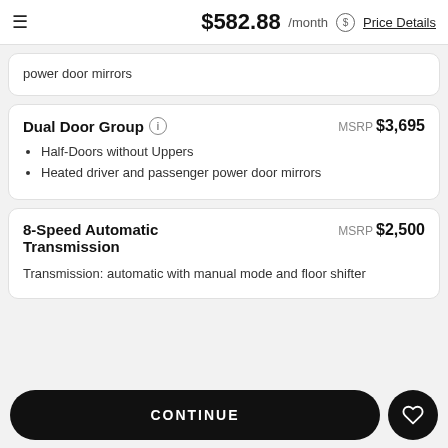$582.88 /month Price Details
power door mirrors
Dual Door Group
MSRP $3,695
Half-Doors without Uppers
Heated driver and passenger power door mirrors
8-Speed Automatic Transmission
MSRP $2,500
Transmission: automatic with manual mode and floor shifter